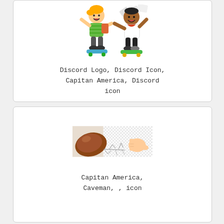[Figure (illustration): Two cartoon children riding skateboards, one with blond hair wearing a green striped shirt, the other darker-skinned wearing a white shirt, papers flying around them]
Discord Logo, Discord Icon, Capitan America, Discord icon
[Figure (illustration): A cartoon illustration showing a large brown foot or shoe on the left and a hand/finger on the right with cracked ground lines between them, on a checkered background]
Capitan America, Caveman, , icon